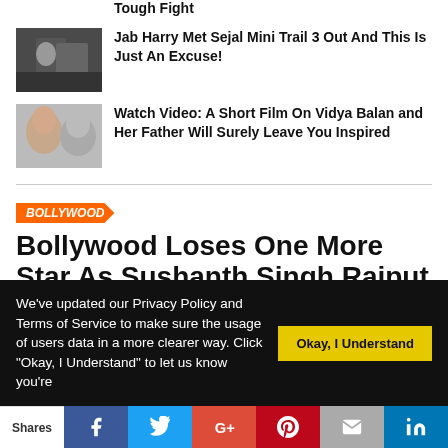Tough Fight
Jab Harry Met Sejal Mini Trail 3 Out And This Is Just An Excuse!
Watch Video: A Short Film On Vidya Balan and Her Father Will Surely Leave You Inspired
BOLLYWOOD
Bollywood Loses One More Star As Sushanth Singh Rajput Commits Suicide
We've updated our Privacy Policy and Terms of Service to make sure the usage of users data in a more clearer way. Click "Okay, I Understand" to let us know you're
Okay, I Understand
Shares